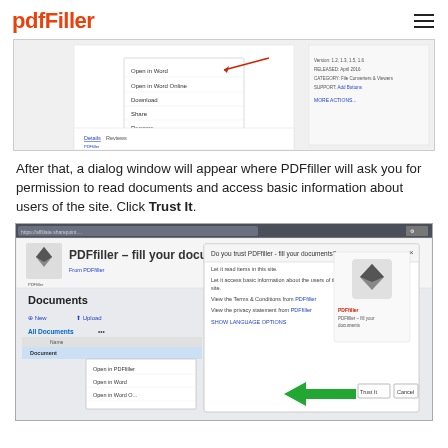pdfFiller
[Figure (screenshot): Screenshot showing a SharePoint document context menu with options: Open in Word, Open in Word Online, Download, Share, Rename. A red arrow points to the menu. On the right side shows document details. Below shows Details and Reviews tabs with PDFfiller description text.]
After that, a dialog window will appear where PDFfiller will ask you for permission to read documents and access basic information about users of the site. Click Trust It.
[Figure (screenshot): Screenshot of a browser showing PDFfiller SharePoint app installation dialog. The dialog reads 'Do you trust PDFfiller - fill your documents?' with options to let it read items, access basic information about users of this site, view Terms & Conditions, view privacy statement, and Show Language Options. A green arrow points to the 'Trust It' button. On the right is the PDFfiller logo icon with text 'PDFfiller - fill your documents'. Below shows the Documents library with context menu open showing Open in PDFfiller, Open in Word, Open in Word Online options.]